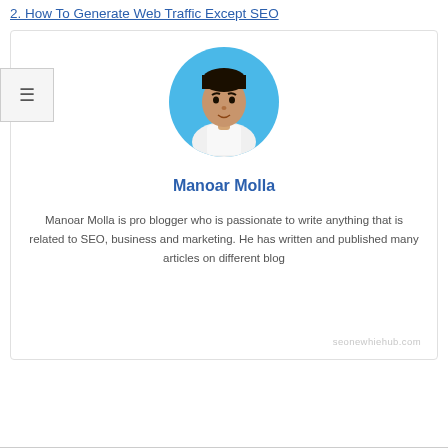2. How To Generate Web Traffic Except SEO
[Figure (photo): Circular profile photo of Manoar Molla, a man in a white shirt against a blue background]
Manoar Molla
Manoar Molla is pro blogger who is passionate to write anything that is related to SEO, business and marketing. He has written and published many articles on different blog
seonewhiehub.com